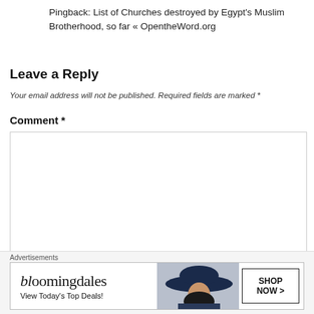Pingback: List of Churches destroyed by Egypt's Muslim Brotherhood, so far « OpentheWord.org
Leave a Reply
Your email address will not be published. Required fields are marked *
Comment *
[Figure (other): Empty comment text area input box]
[Figure (other): Bloomingdale's advertisement banner: 'bloomingdales - View Today's Top Deals!' with woman in hat image and 'SHOP NOW >' button]